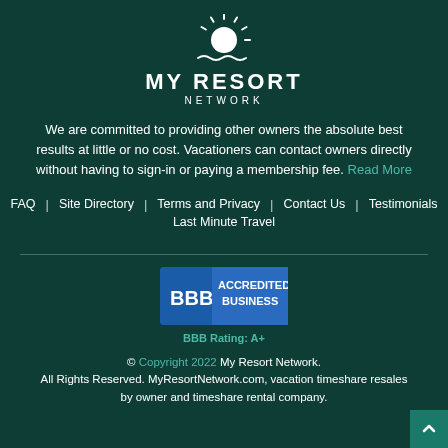[Figure (logo): My Resort Network logo with sun icon, bold text 'MY RESORT NETWORK', wavy underline]
We are committed to providing other owners the absolute best results at little or no cost. Vacationers can contact owners directly without having to sign-in or paying a membership fee. Read More
FAQ | Site Directory | Terms and Privacy | Contact Us | Testimonials
Last Minute Travel
[Figure (logo): BBB Accredited Business badge with blue background]
BBB Rating: A+
© Copyright 2022 My Resort Network. All Rights Reserved. MyResortNetwork.com, vacation timeshare resales by owner and timeshare rental company.